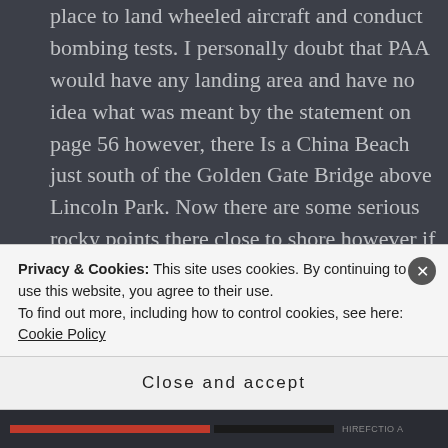place to land wheeled aircraft and conduct bombing tests. I personally doubt that PAA would have any landing area and have no idea what was meant by the statement on page 56 however, there Is a China Beach just south of the Golden Gate Bridge above Lincoln Park. Now there are some serious rocky points there close to shore however if you needed to land outside the fog area within the bay, it just might work but I have not seen any documents that show this
Privacy & Cookies: This site uses cookies. By continuing to use this website, you agree to their use.
To find out more, including how to control cookies, see here: Cookie Policy
Close and accept